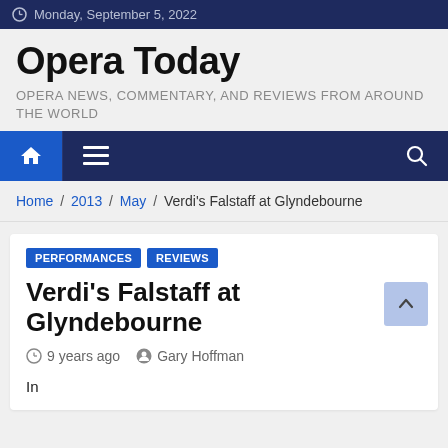Monday, September 5, 2022
Opera Today
OPERA NEWS, COMMENTARY, AND REVIEWS FROM AROUND THE WORLD
Home / 2013 / May / Verdi's Falstaff at Glyndebourne
PERFORMANCES   REVIEWS
Verdi's Falstaff at Glyndebourne
9 years ago   Gary Hoffman
In